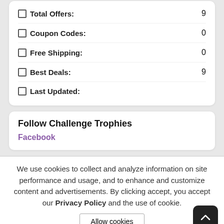Total Offers: 9
Coupon Codes: 0
Free Shipping: 0
Best Deals: 9
Last Updated:
Follow Challenge Trophies
Facebook
We use cookies to collect and analyze information on site performance and usage, and to enhance and customize content and advertisements. By clicking accept, you accept our Privacy Policy and the use of cookie.
Allow cookies
Challenge Trophies received 4 stars rating 9 votes from our customers.